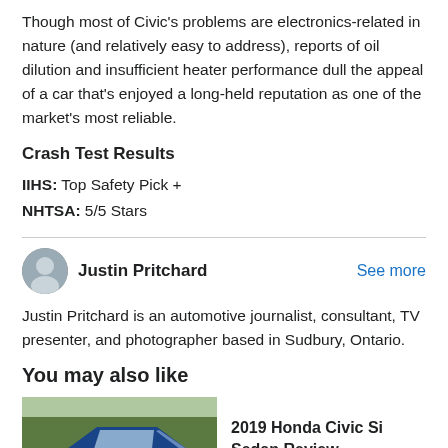Though most of Civic's problems are electronics-related in nature (and relatively easy to address), reports of oil dilution and insufficient heater performance dull the appeal of a car that's enjoyed a long-held reputation as one of the market's most reliable.
Crash Test Results
IIHS: Top Safety Pick +
NHTSA: 5/5 Stars
Justin Pritchard
See more
Justin Pritchard is an automotive journalist, consultant, TV presenter, and photographer based in Sudbury, Ontario.
You may also like
[Figure (photo): Blue Honda Civic Si Sedan parked outdoors with trees in background]
2019 Honda Civic Si Sedan Review
Dec 24, 2019